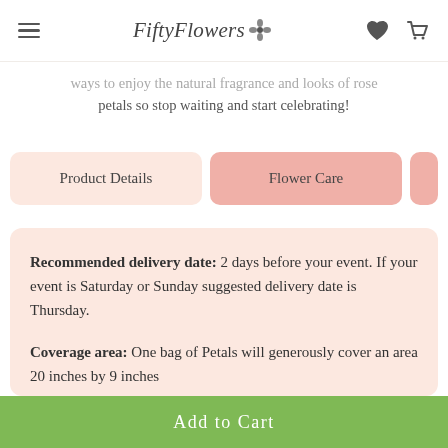FiftyFlowers
ways to enjoy the natural fragrance and looks of rose petals so stop waiting and start celebrating!
Product Details
Flower Care
Recommended delivery date: 2 days before your event. If your event is Saturday or Sunday suggested delivery date is Thursday.
Coverage area: One bag of Petals will generously cover an area 20 inches by 9 inches
Add to Cart